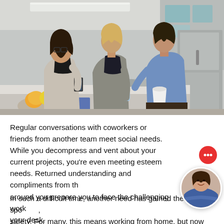[Figure (photo): Three people—a woman with dark hair and glasses holding a phone, and two men—having a conversation in an office kitchen/break room setting. One man in a grey cardigan holds a water bottle, the other in a blue shirt holds a cup. Fruit bowl visible in foreground.]
Regular conversations with coworkers or friends from another team meet social needs. While you decompress and vent about your current projects, you're even meeting esteem needs. Returned understanding and compliments from those around you prepare you to face the challenging work at your desk.
In such a difficult time, another need has gained the spotlight, safety. For many, this means working from home, but now